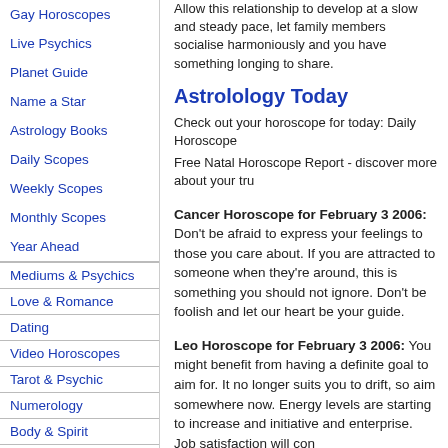Gay Horoscopes
Live Psychics
Planet Guide
Name a Star
Astrology Books
Daily Scopes
Weekly Scopes
Monthly Scopes
Year Ahead
Mediums & Psychics
Love & Romance
Dating
Video Horoscopes
Tarot & Psychic
Numerology
Body & Spirit
Destiny & Mind
Mobile
Allow this relationship to develop at a slow and steady pace, let family members socialise harmoniously and you have something longing to share.
Astrolology Today
Check out your horoscope for today: Daily Horoscope
Free Natal Horoscope Report - discover more about your tru
Cancer Horoscope for February 3 2006: Don't be afraid to express your feelings to those you care about. If you are attracted to someone when they're around, this is something you should not ignore. Don't be foolish and let our heart be your guide.
Leo Horoscope for February 3 2006: You might benefit from having a definite goal to aim for. It no longer suits you to drift, so aim somewhere now. Energy levels are starting to increase and initiative and enterprise. Job satisfaction will con
Virgo Horoscope for February 3 2006: Friends could bring you close to a new partner or lover. Single? Have you noticed someone during tea breaks and lunch breaks and seems keen to chat? A platonic relationship is veering into more romantic territory for you.